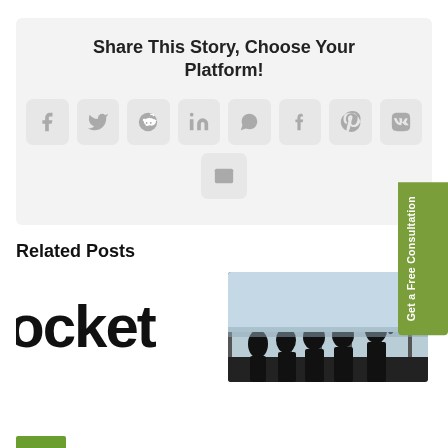Share This Story, Choose Your Platform!
[Figure (infographic): Social sharing buttons: Facebook, Twitter, Reddit, LinkedIn, WhatsApp, Tumblr, Pinterest, VK, Email]
Related Posts
[Figure (logo): Partial text reading 'ocket' in bold black font — cropped logo]
[Figure (photo): Silhouettes of business people standing at a large window, one person pointing]
[Figure (other): Green vertical CTA tab reading 'Get a Free Consultation']